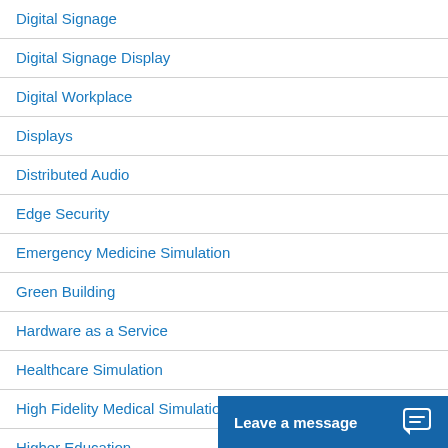Digital Signage
Digital Signage Display
Digital Workplace
Displays
Distributed Audio
Edge Security
Emergency Medicine Simulation
Green Building
Hardware as a Service
Healthcare Simulation
High Fidelity Medical Simulation
Higher Education
Leave a message